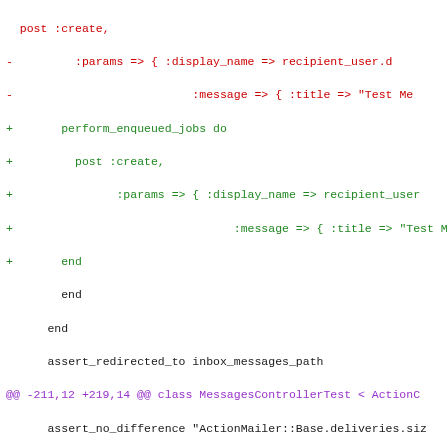[Figure (screenshot): Git diff code view showing changes to a Ruby test file (MessagesControllerTest). Red lines (prefixed with -) show removed code, green lines (prefixed with +) show added code, and a purple @@ line shows the diff hunk header. The code involves post :create, :params, perform_enqueued_jobs, assert_response, assert_template, assert_select blocks.]